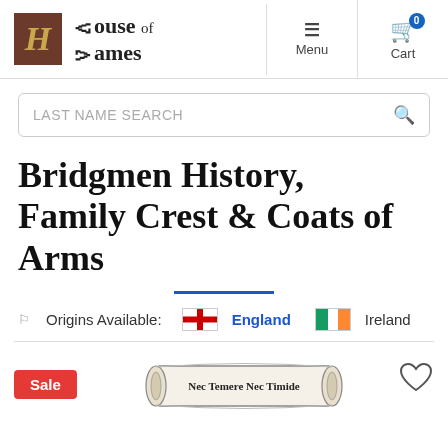[Figure (logo): House of Names website logo with decorative gothic H in brown box and gothic text 'House of Names']
Menu  Cart
LAST NAME SEARCH
Bridgmen History, Family Crest & Coats of Arms
Origins Available: England  Ireland
[Figure (illustration): Scroll banner with text 'Nec Temere Nec Timide']
Sale